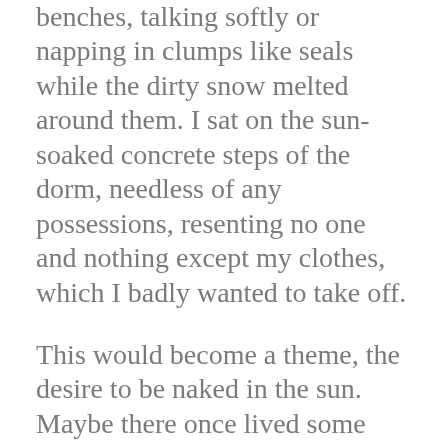benches, talking softly or napping in clumps like seals while the dirty snow melted around them. I sat on the sun-soaked concrete steps of the dorm, needless of any possessions, resenting no one and nothing except my clothes, which I badly wanted to take off.
This would become a theme, the desire to be naked in the sun. Maybe there once lived some hopeless person who never had the urge, but it feels as innate and universal as